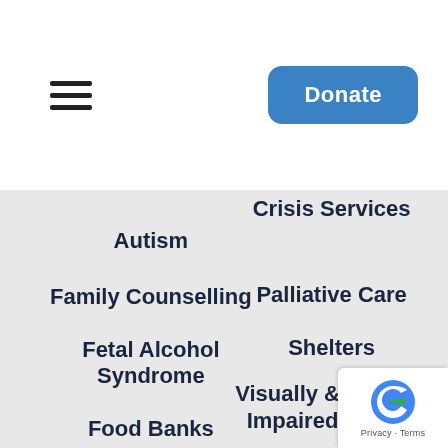[Figure (other): Hamburger menu icon (three horizontal lines)]
[Figure (other): Blue rounded rectangle Donate button]
Crisis Services
Autism
Family Counselling
Palliative Care
Fetal Alcohol Syndrome
Shelters
Food Banks
Visually & Hearing Impaired People
Geriatrics
Women's Health
[Figure (logo): Google reCAPTCHA badge with Privacy and Terms text]